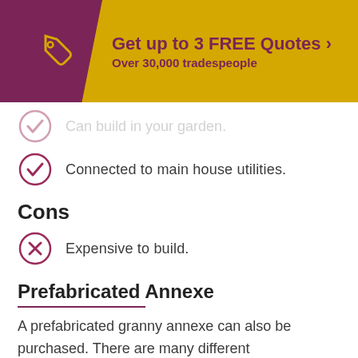[Figure (infographic): Yellow banner with purple chevron left section containing a tag/price-tag icon, and text 'Get up to 3 FREE Quotes >' and 'Over 30,000 tradespeople']
Can build in your garden.
Connected to main house utilities.
Cons
Expensive to build.
Prefabricated Annexe
A prefabricated granny annexe can also be purchased. There are many different configurations to choose from, and some companies even allow you to design your annexe.